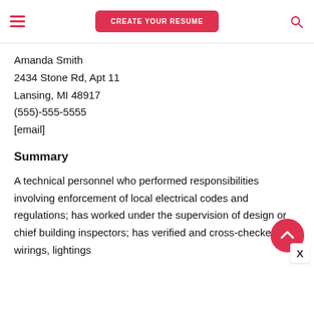CREATE YOUR RESUME
Amanda Smith
2434 Stone Rd, Apt 11
Lansing, MI 48917
(555)-555-5555
[email]
Summary
A technical personnel who performed responsibilities involving enforcement of local electrical codes and regulations; has worked under the supervision of design or chief building inspectors; has verified and cross-checked wirings, lightings